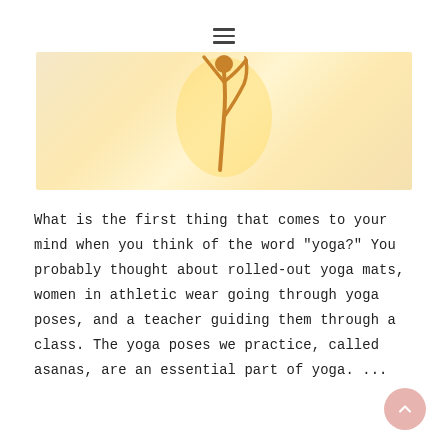≡ (hamburger menu icon)
[Figure (photo): A yoga practitioner silhouetted against a warm golden backlit background, performing a standing balance pose with one leg raised and arms extended, set against a light cream/golden toned rectangle image.]
What is the first thing that comes to your mind when you think of the word "yoga?" You probably thought about rolled-out yoga mats, women in athletic wear going through yoga poses, and a teacher guiding them through a class. The yoga poses we practice, called asanas, are an essential part of yoga. ...